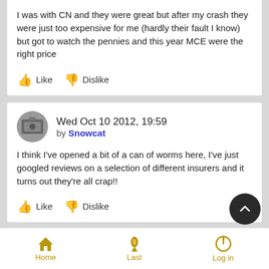I was with CN and they were great but after my crash they were just too expensive for me (hardly their fault I know) but got to watch the pennies and this year MCE were the right price
Like  Dislike
Wed Oct 10 2012, 19:59 by Snowcat
I think I've opened a bit of a can of worms here, I've just googled reviews on a selection of different insurers and it turns out they're all crap!!
Like  Dislike
Wed Oct 10 2012, 20:09
Home  Last  Log in